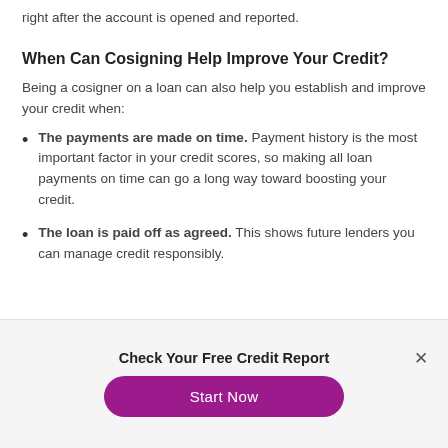right after the account is opened and reported.
When Can Cosigning Help Improve Your Credit?
Being a cosigner on a loan can also help you establish and improve your credit when:
The payments are made on time. Payment history is the most important factor in your credit scores, so making all loan payments on time can go a long way toward boosting your credit.
The loan is paid off as agreed. This shows future lenders you can manage credit responsibly.
Check Your Free Credit Report
Start Now